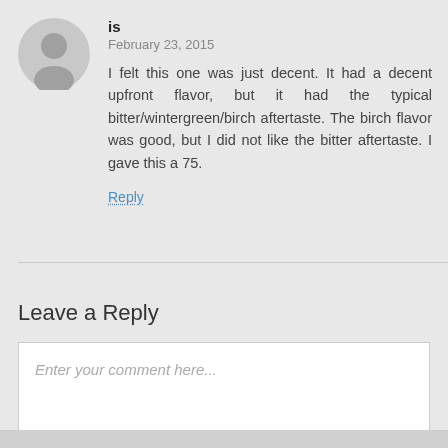is
February 23, 2015
I felt this one was just decent. It had a decent upfront flavor, but it had the typical bitter/wintergreen/birch aftertaste. The birch flavor was good, but I did not like the bitter aftertaste. I gave this a 75.
Reply
Leave a Reply
Enter your comment here...